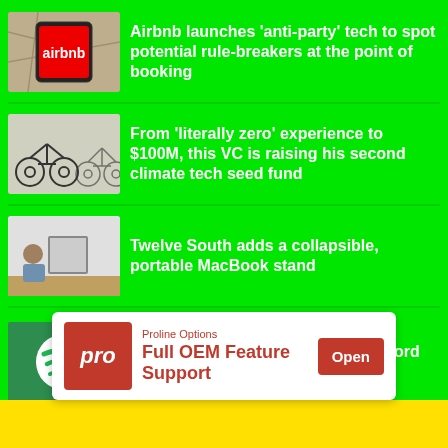[Figure (photo): Airbnb logo on a smartphone placed on a map]
Airbnb launches ‘anti-party’ tech to spot potential rule-breakers at the point of booking
[Figure (photo): Row of bicycles parked in a line]
From ‘literally zero’ experience to $100M, this VC is raising his second climate tech seed fund
[Figure (photo): Man at a desk with a MacBook on a stand]
Twelve South adds a collapsible, portable MacBook stand
[Figure (logo): Spotify logo on a green background]
Spotify prompts some users to record reaction podcasts to playlists
[Figure (infographic): Proline Options advertisement: Full OEM Feature Support with Open button]